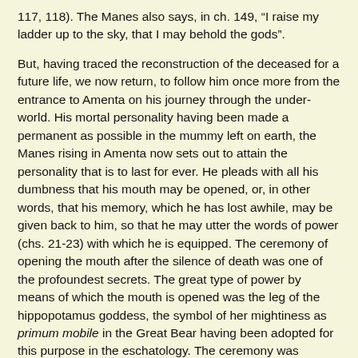117, 118). The Manes also says, in ch. 149, “I raise my ladder up to the sky, that I may behold the gods”.
But, having traced the reconstruction of the deceased for a future life, we now return, to follow him once more from the entrance to Amenta on his journey through the under-world. His mortal personality having been made a permanent as possible in the mummy left on earth, the Manes rising in Amenta now sets out to attain the personality that is to last for ever. He pleads with all his dumbness that his mouth may be opened, or, in other words, that his memory, which he has lost awhile, may be given back to him, so that he may utter the words of power (chs. 21-23) with which he is equipped. The ceremony of opening the mouth after the silence of death was one of the profoundest secrets. The great type of power by means of which the mouth is opened was the leg of the hippopotamus goddess, the symbol of her mightiness as primum mobile in the Great Bear having been adopted for this purpose in the eschatology. The ceremony was performed at the tomb as well as in Amenta by the opener Ptah as a mystery of the resurrection. And amongst the many other survivals this rite of “opening the mouth” is still performed in Rome. It was announced in a daily paper not long since (the Mail, August 8th, 1903) that after the death of Pope Leo XIII, and the coronation of Pius X, “a Consistory